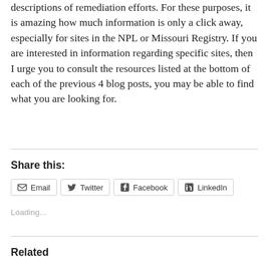descriptions of remediation efforts. For these purposes, it is amazing how much information is only a click away, especially for sites in the NPL or Missouri Registry. If you are interested in information regarding specific sites, then I urge you to consult the resources listed at the bottom of each of the previous 4 blog posts, you may be able to find what you are looking for.
Share this:
Email  Twitter  Facebook  LinkedIn
Loading...
Related